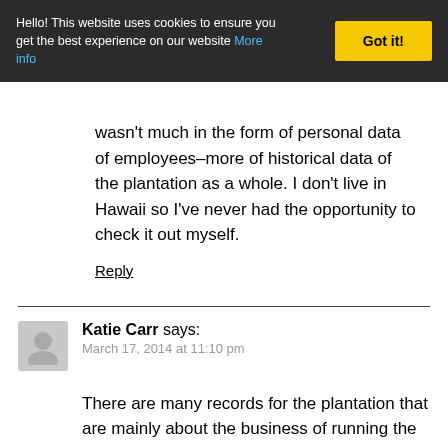Hello! This website uses cookies to ensure you get the best experience on our website More info | Got it!
wasn't much in the form of personal data of employees–more of historical data of the plantation as a whole. I don't live in Hawaii so I've never had the opportunity to check it out myself.
Reply
Katie Carr says:
March 17, 2014 at 11:10 pm
There are many records for the plantation that are mainly about the business of running the plantation. However, from the 1880's onward,